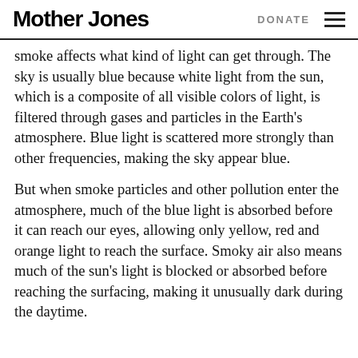Mother Jones | DONATE
smoke affects what kind of light can get through. The sky is usually blue because white light from the sun, which is a composite of all visible colors of light, is filtered through gases and particles in the Earth's atmosphere. Blue light is scattered more strongly than other frequencies, making the sky appear blue.
But when smoke particles and other pollution enter the atmosphere, much of the blue light is absorbed before it can reach our eyes, allowing only yellow, red and orange light to reach the surface. Smoky air also means much of the sun's light is blocked or absorbed before reaching the surfacing, making it unusually dark during the daytime.